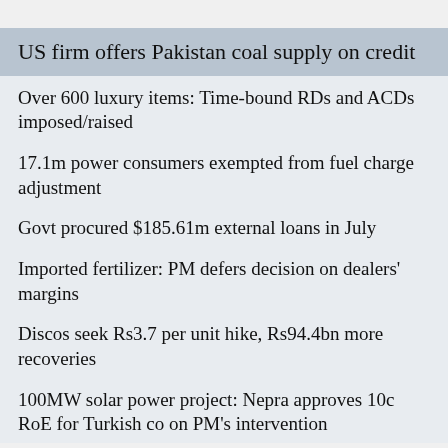US firm offers Pakistan coal supply on credit
Over 600 luxury items: Time-bound RDs and ACDs imposed/raised
17.1m power consumers exempted from fuel charge adjustment
Govt procured $185.61m external loans in July
Imported fertilizer: PM defers decision on dealers' margins
Discos seek Rs3.7 per unit hike, Rs94.4bn more recoveries
100MW solar power project: Nepra approves 10c RoE for Turkish co on PM's intervention